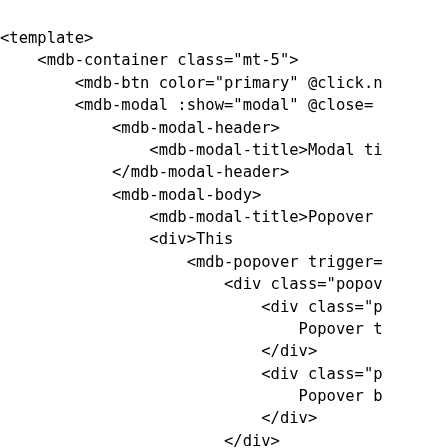<template>
    <mdb-container class="mt-5">
        <mdb-btn color="primary" @click.n
        <mdb-modal :show="modal" @close=
            <mdb-modal-header>
                <mdb-modal-title>Modal ti
            </mdb-modal-header>
            <mdb-modal-body>
                <mdb-modal-title>Popover
                <div>This
                    <mdb-popover trigger=
                        <div class="popov
                            <div class="p
                                Popover t
                            </div>
                            <div class="p
                                Popover b
                            </div>
                        </div>
                        <mdb-btn slot="re
                            Button
                        </mdb-btn>
                    </mdb-popover>
                    triggers a popover on
                </div>
                <hr />
                <mdb-modal-title>Tooltips
                <mdb-tooltip trigger="hov
                    <div class="tooltip